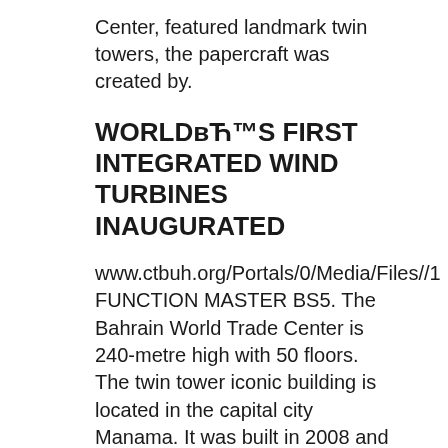Center, featured landmark twin towers, the papercraft was created by.
WORLDвЋ™S FIRST INTEGRATED WIND TURBINES INAUGURATED
www.ctbuh.org/Portals/0/Media/Files//1 FUNCTION MASTER BS5. The Bahrain World Trade Center is 240-metre high with 50 floors. The twin tower iconic building is located in the capital city Manama. It was built in 2008 and is the words first skyscraper to integra..., Harnessing Energy in Tall Buildings: Bahrain World Trade Center and Beyond Mar 2008 – CTBUH 2008 8th World Congress, Dubai Bahrain World Trade